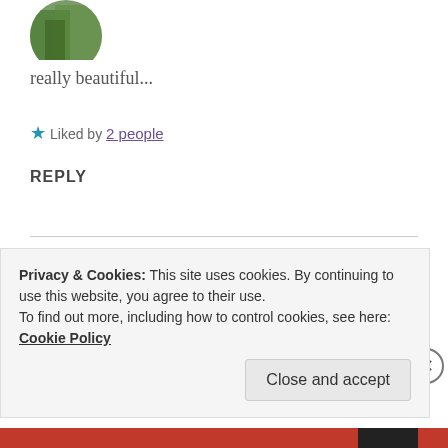[Figure (photo): Circular avatar photo of person among trees/nature, partially cropped at top]
really beautiful...
★ Liked by 2 people
REPLY
[Figure (photo): Circular avatar photo of a person with dark hair]
ZEALOUS HOMO SAPIENS
9 Mar 2019 at 9:24 am
Privacy & Cookies: This site uses cookies. By continuing to use this website, you agree to their use.
To find out more, including how to control cookies, see here: Cookie Policy
Close and accept